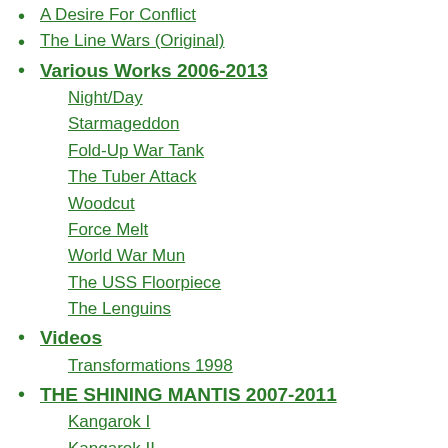A Desire For Conflict
The Line Wars (Original)
Various Works 2006-2013
Night/Day
Starmageddon
Fold-Up War Tank
The Tuber Attack
Woodcut
Force Melt
World War Mun
The USS Floorpiece
The Lenguins
Videos
Transformations 1998
THE SHINING MANTIS 2007-2011
Kangarok I
Kangarok II
Kangarok III
Kangarok IV